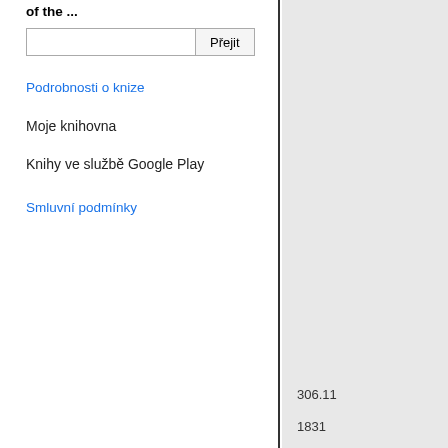of the ...
[Figure (screenshot): Search input box with text field and 'Přejit' button]
Podrobnosti o knize
Moje knihovna
Knihy ve službě Google Play
Smluvní podmínky
306.11
1831